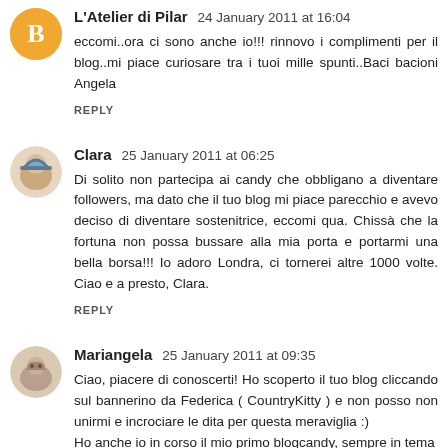L'Atelier di Pilar  24 January 2011 at 16:04
eccomi..ora ci sono anche io!!! rinnovo i complimenti per il blog..mi piace curiosare tra i tuoi mille spunti..Baci bacioni Angela
REPLY
Clara  25 January 2011 at 06:25
Di solito non partecipa ai candy che obbligano a diventare followers, ma dato che il tuo blog mi piace parecchio e avevo deciso di diventare sostenitrice, eccomi qua. Chissà che la fortuna non possa bussare alla mia porta e portarmi una bella borsa!!! Io adoro Londra, ci tornerei altre 1000 volte. Ciao e a presto, Clara.
REPLY
Mariangela  25 January 2011 at 09:35
Ciao, piacere di conoscerti! Ho scoperto il tuo blog cliccando sul bannerino da Federica ( CountryKitty ) e non posso non unirmi e incrociare le dita per questa meraviglia :)
Ho anche io in corso il mio primo blogcandy, sempre in tema